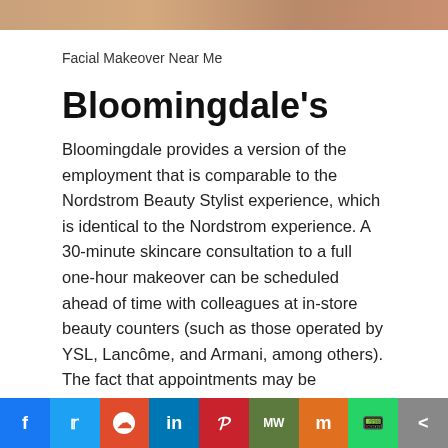[Figure (photo): Top image strip showing facial/beauty related imagery in warm tones]
Facial Makeover Near Me
Bloomingdale's
Bloomingdale provides a version of the employment that is comparable to the Nordstrom Beauty Stylist experience, which is identical to the Nordstrom experience. A 30-minute skincare consultation to a full one-hour makeover can be scheduled ahead of time with colleagues at in-store beauty counters (such as those operated by YSL, Lancôme, and Armani, among others). The fact that appointments may be scheduled 24 hours a day, seven days a week, ensures that you will have plenty of opportunities to pamper
[Figure (other): Social media sharing bar with Facebook, Twitter, Reddit, LinkedIn, Pinterest, MeWe, Mix, WhatsApp, and Share buttons]